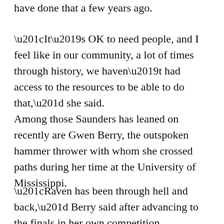have done that a few years ago.
“It’s OK to need people, and I feel like in our community, a lot of times through history, we haven’t had access to the resources to be able to do that,” she said.
Among those Saunders has leaned on recently are Gwen Berry, the outspoken hammer thrower with whom she crossed paths during her time at the University of Mississippi.
“Raven has been through hell and back,” Berry said after advancing to the finals in her own competition. “I’ve always wanted to share their…”